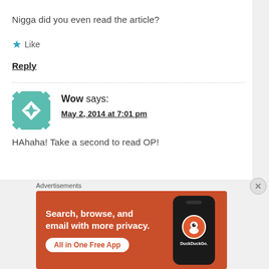Nigga did you even read the article?
★ Like
Reply
[Figure (illustration): Teal and white geometric quilt-pattern avatar for user 'Wow']
Wow says:
May 2, 2014 at 7:01 pm
HAhaha! Take a second to read OP!
Advertisements
[Figure (screenshot): DuckDuckGo advertisement banner: 'Search, browse, and email with more privacy. All in One Free App' with phone graphic showing DuckDuckGo logo]